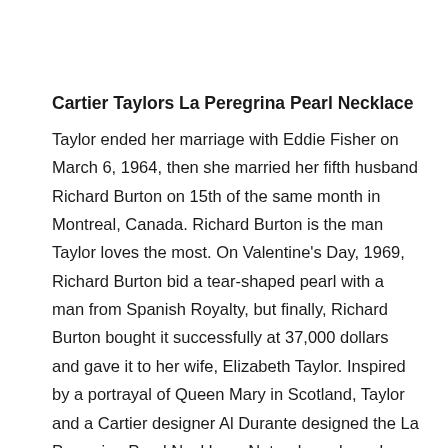Cartier Taylors La Peregrina Pearl Necklace
Taylor ended her marriage with Eddie Fisher on March 6, 1964, then she married her fifth husband Richard Burton on 15th of the same month in Montreal, Canada. Richard Burton is the man Taylor loves the most. On Valentine's Day, 1969, Richard Burton bid a tear-shaped pearl with a man from Spanish Royalty, but finally, Richard Burton bought it successfully at 37,000 dollars and gave it to her wife, Elizabeth Taylor. Inspired by a portrayal of Queen Mary in Scotland, Taylor and a Cartier designer Al Durante designed the La Peregrina Pearl Necklace. Natural pearls and rubies foil the tear-shaped pearl perfectly. She likes the pearl neck very much, so that she wore it in her film A Little Night Music. In 2012, Cartier Taylors La Peregrina